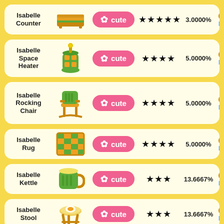| Name | Image | Tag | Stars | Rate | Count/Be |
| --- | --- | --- | --- | --- | --- |
| Isabelle Counter |  | cute | ★★★★★ | 3.0000% | 3 Be |
| Isabelle Space Heater |  | cute | ★★★★ | 5.0000% | 2 Be |
| Isabelle Rocking Chair |  | cute | ★★★★ | 5.0000% | 2 Be |
| Isabelle Rug |  | cute | ★★★★ | 5.0000% | 2 Be |
| Isabelle Kettle |  | cute | ★★★ | 13.6667% | 1 Be |
| Isabelle Stool |  | cute | ★★★ | 13.6667% | 1 Be |
| Isabelle |  |  |  |  | 1 Be |